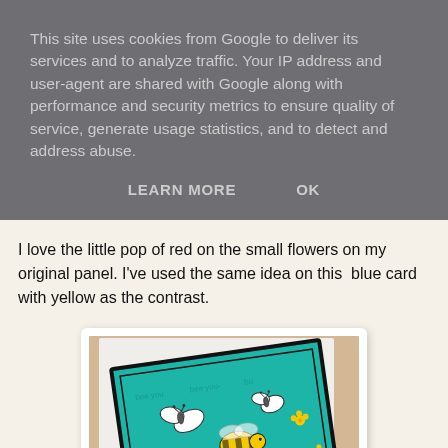This site uses cookies from Google to deliver its services and to analyze traffic. Your IP address and user-agent are shared with Google along with performance and security metrics to ensure quality of service, generate usage statistics, and to detect and address abuse.
LEARN MORE    OK
I love the little pop of red on the small flowers on my original panel. I've used the same idea on this  blue card with yellow as the contrast.
[Figure (photo): A crafted greeting card with teal/turquoise background, featuring illustrated bees, butterflies, and small yellow flowers. The card has a black border and text reading 'bee you' repeated. The card is shown at an angle on a white mat with a beige/kraft paper background.]